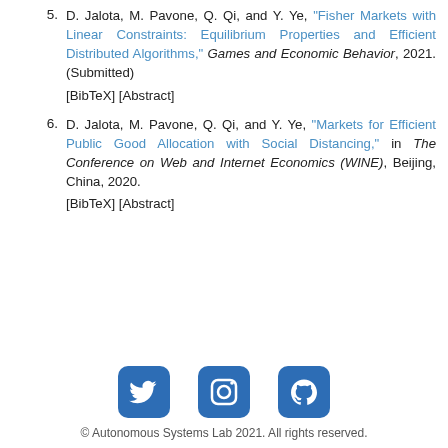5. D. Jalota, M. Pavone, Q. Qi, and Y. Ye, "Fisher Markets with Linear Constraints: Equilibrium Properties and Efficient Distributed Algorithms," Games and Economic Behavior, 2021. (Submitted) [BibTeX] [Abstract]
6. D. Jalota, M. Pavone, Q. Qi, and Y. Ye, "Markets for Efficient Public Good Allocation with Social Distancing," in The Conference on Web and Internet Economics (WINE), Beijing, China, 2020. [BibTeX] [Abstract]
[Figure (other): Three social media icons: Twitter, Instagram, GitHub — rounded square blue icons in a row]
© Autonomous Systems Lab 2021. All rights reserved.